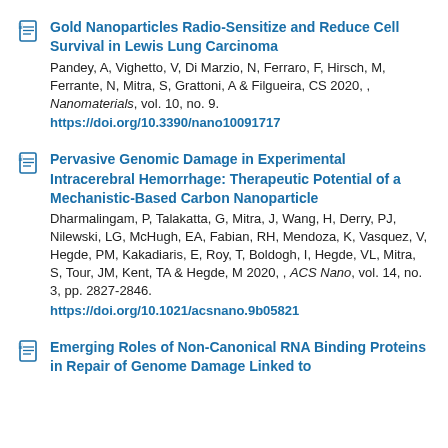Gold Nanoparticles Radio-Sensitize and Reduce Cell Survival in Lewis Lung Carcinoma
Pandey, A, Vighetto, V, Di Marzio, N, Ferraro, F, Hirsch, M, Ferrante, N, Mitra, S, Grattoni, A & Filgueira, CS 2020, , Nanomaterials, vol. 10, no. 9.
https://doi.org/10.3390/nano10091717
Pervasive Genomic Damage in Experimental Intracerebral Hemorrhage: Therapeutic Potential of a Mechanistic-Based Carbon Nanoparticle
Dharmalingam, P, Talakatta, G, Mitra, J, Wang, H, Derry, PJ, Nilewski, LG, McHugh, EA, Fabian, RH, Mendoza, K, Vasquez, V, Hegde, PM, Kakadiaris, E, Roy, T, Boldogh, I, Hegde, VL, Mitra, S, Tour, JM, Kent, TA & Hegde, M 2020, , ACS Nano, vol. 14, no. 3, pp. 2827-2846.
https://doi.org/10.1021/acsnano.9b05821
Emerging Roles of Non-Canonical RNA Binding Proteins in Repair of Genome Damage Linked to